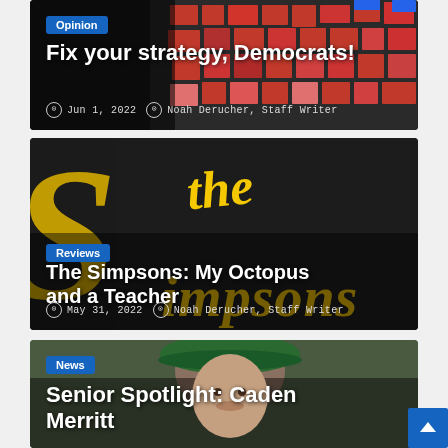[Figure (photo): Card 1: Electoral map with red and blue states shown as colored squares, dark background. Opinion article card.]
Opinion
Fix your strategy, Democrats!
Jun 1, 2022   Noah Derucher, Staff Writer
[Figure (photo): Card 2: The Simpsons logo on dark background. Yellow stylized text 'the Simpsons' with large S on left. Reviews article card.]
Reviews
The Simpsons: My Octopus and a Teacher
May 31, 2022   Noah Derucher, Staff Writer
[Figure (photo): Card 3: Photo of person wearing green beret hat, blurred background. News article card.]
News
Senior Spotlight: Caden Merritt